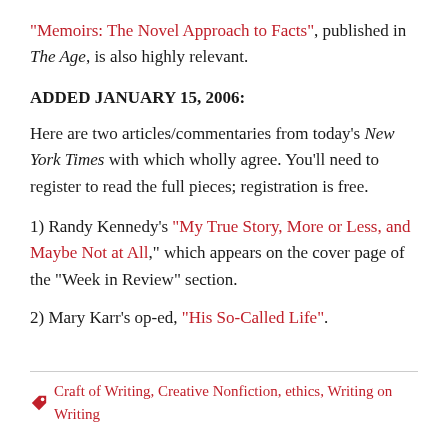“Memoirs: The Novel Approach to Facts”, published in The Age, is also highly relevant.
ADDED JANUARY 15, 2006:
Here are two articles/commentaries from today’s New York Times with which wholly agree. You’ll need to register to read the full pieces; registration is free.
1) Randy Kennedy’s “My True Story, More or Less, and Maybe Not at All,” which appears on the cover page of the “Week in Review” section.
2) Mary Karr’s op-ed, “His So-Called Life”.
Craft of Writing, Creative Nonfiction, ethics, Writing on Writing